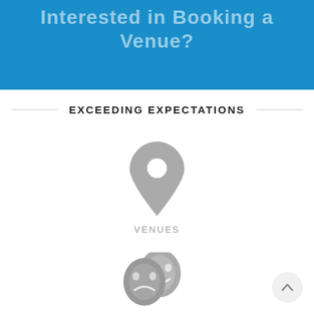Interested in Booking a Venue?
EXCEEDING EXPECTATIONS
[Figure (illustration): Grey map location pin icon]
VENUES
[Figure (illustration): Grey theatre masks icon (comedy and tragedy)]